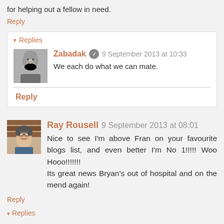for helping out a fellow in need.
Reply
▼ Replies
Zabadak  9 September 2013 at 10:33
We each do what we can mate.
Reply
Ray Rousell  9 September 2013 at 08:01
Nice to see I'm above Fran on your favourite blogs list, and even better I'm No 1!!!!! Woo Hooo!!!!!!!
Its great news Bryan's out of hospital and on the mend again!
Reply
▼ Replies